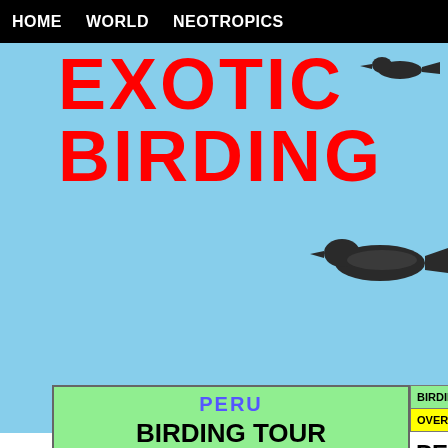HOME   WORLD   NEOTROPICS
EXOTIC BIRDING
PERU
BIRDING TOUR
ANY TIME*
|  |  |
| --- | --- |
| Duration: | 17 days, 16 nights |
| Group Size: | 2-6 |
| Anytime Price: | $5700 |
| Group Price: | $5300 |
| Single Suppl: | $750 |
BIRDING TOURS   PHOT
OVERVIEW   ITIM
PERU